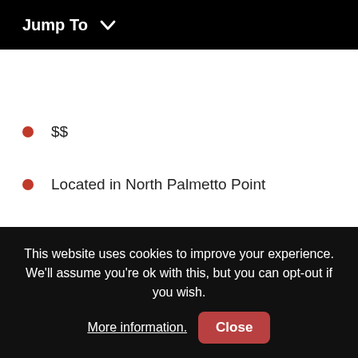Jump To ∨
$$
Located in North Palmetto Point
2 Guests
This website uses cookies to improve your experience. We'll assume you're ok with this, but you can opt-out if you wish. More information. Close